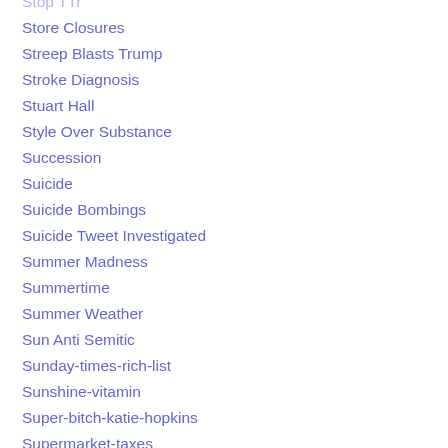Stop TTr
Store Closures
Streep Blasts Trump
Stroke Diagnosis
Stuart Hall
Style Over Substance
Succession
Suicide
Suicide Bombings
Suicide Tweet Investigated
Summer Madness
Summertime
Summer Weather
Sun Anti Semitic
Sunday-times-rich-list
Sunshine-vitamin
Super-bitch-katie-hopkins
Supermarket-taxes